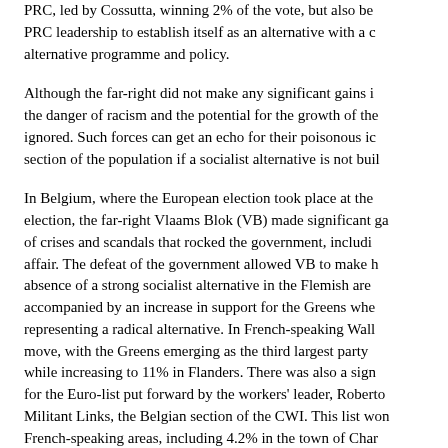PRC, led by Cossutta, winning 2% of the vote, but also be PRC leadership to establish itself as an alternative with a c alternative programme and policy.
Although the far-right did not make any significant gains i the danger of racism and the potential for the growth of the ignored. Such forces can get an echo for their poisonous ic section of the population if a socialist alternative is not buil
In Belgium, where the European election took place at the election, the far-right Vlaams Blok (VB) made significant ga of crises and scandals that rocked the government, includi affair. The defeat of the government allowed VB to make h absence of a strong socialist alternative in the Flemish are accompanied by an increase in support for the Greens whe representing a radical alternative. In French-speaking Wall move, with the Greens emerging as the third largest party while increasing to 11% in Flanders. There was also a sign for the Euro-list put forward by the workers' leader, Roberto Militant Links, the Belgian section of the CWI. This list won French-speaking areas, including 4.2% in the town of Char
In France, the Greens won 9.7% of the vote. This also refle about the environment and related issues. In Britain, the G disillusionment with New Labour. As Caroline Lucas, the ne for the South-East Region of Britain commented: 'I lost cou traditional Labour supporters who have come up to me in t said that they did not spend 20 years fighting Thatcherism, Party perpetuate those things'.